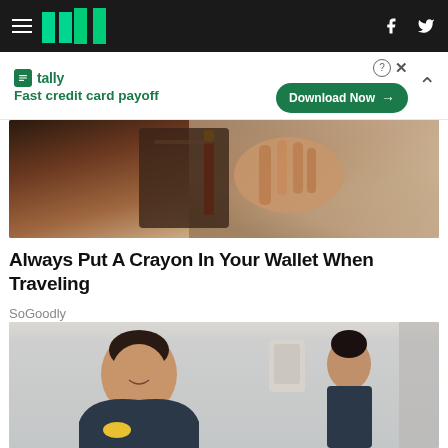HuffPost navigation with hamburger menu, logo, Facebook and Twitter icons
[Figure (other): Tally advertisement banner: Fast credit card payoff — Download Now button]
[Figure (photo): Close-up photo of a hand holding or touching what appears to be a crayon near a wallet/purse]
Always Put A Crayon In Your Wallet When Traveling
SoGoodly
[Figure (photo): Photo of a smiling woman in dark scrubs with yellow gloves crossed over her arms, another person in background in a clinical/cleaning setting]